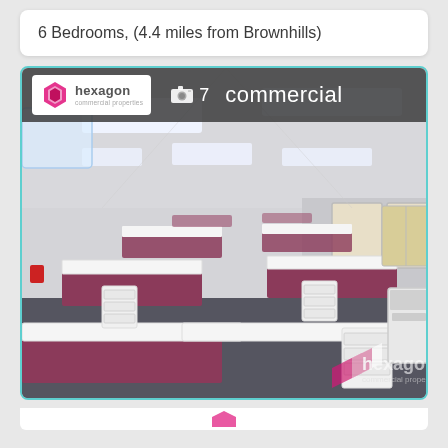6 Bedrooms, (4.4 miles from Brownhills)
[Figure (photo): Interior photo of a large open-plan office space with white desks, purple/pink partition screens, grey carpet, and fluorescent ceiling panel lights. Hexagon Commercial Properties logo and overlay bar at top showing camera icon, '7', and 'commercial'. Hexagon watermark logo visible at bottom right.]